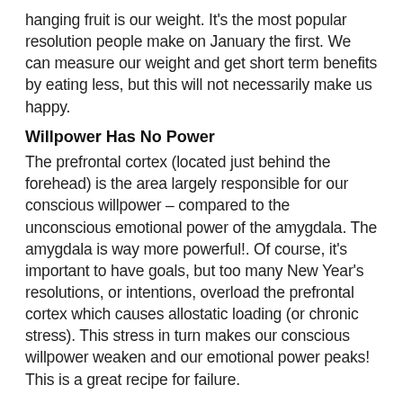hanging fruit is our weight. It's the most popular resolution people make on January the first. We can measure our weight and get short term benefits by eating less, but this will not necessarily make us happy.
Willpower Has No Power
The prefrontal cortex (located just behind the forehead) is the area largely responsible for our conscious willpower – compared to the unconscious emotional power of the amygdala. The amygdala is way more powerful!. Of course, it's important to have goals, but too many New Year's resolutions, or intentions, overload the prefrontal cortex which causes allostatic loading (or chronic stress). This stress in turn makes our conscious willpower weaken and our emotional power peaks! This is a great recipe for failure.